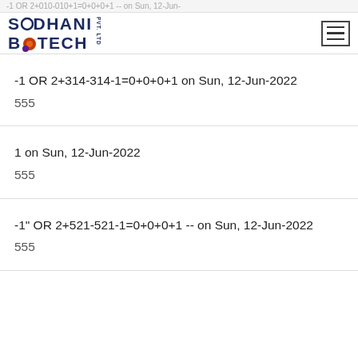-1 OR 2+010-010+1=0+0+0+1 -- on Sun, 12-Jun- [truncated top]
[Figure (logo): Sodhani Biotech Pvt. Ltd. company logo with colorful biotech imagery]
-1 OR 2+314-314-1=0+0+0+1 on Sun, 12-Jun-2022
555
1 on Sun, 12-Jun-2022
555
-1" OR 2+521-521-1=0+0+0+1 -- on Sun, 12-Jun-2022
555